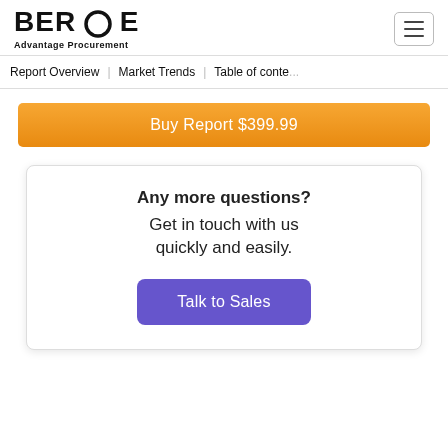BEROE Advantage Procurement
Report Overview | Market Trends | Table of conte...
Buy Report $399.99
Any more questions? Get in touch with us quickly and easily.
Talk to Sales